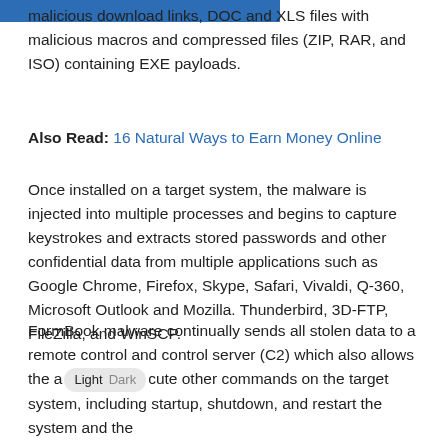malicious download links, DOC and XLS files with malicious macros and compressed files (ZIP, RAR, and ISO) containing EXE payloads.
Also Read: 16 Natural Ways to Earn Money Online
Once installed on a target system, the malware is injected into multiple processes and begins to capture keystrokes and extracts stored passwords and other confidential data from multiple applications such as Google Chrome, Firefox, Skype, Safari, Vivaldi, Q-360, Microsoft Outlook and Mozilla. Thunderbird, 3D-FTP, FileZilla, and WinSCP.
FormBook malware continually sends all stolen data to a remote control and control server (C2) which also allows the attacker to execute other commands on the target system, including startup, shutdown, and restart the system and the